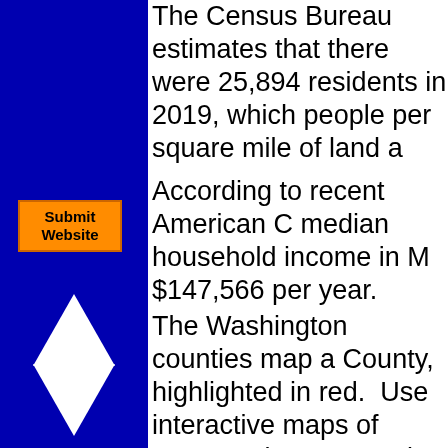The Census Bureau estimates that there were 25,894 residents in 2019, which works out to people per square mile of land a…
[Figure (other): Orange 'Submit Website' button on blue sidebar]
According to recent American C… median household income in M… $147,566 per year.
[Figure (other): White upward-pointing triangle arrow on blue sidebar]
[Figure (other): White downward-pointing triangle arrow on blue sidebar]
The Washington counties map a… County, highlighted in red. Use… interactive maps of Mercer Islan… page or in full-screen mode.